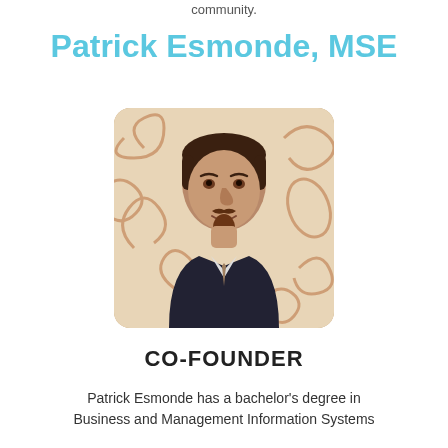community.
Patrick Esmonde, MSE
[Figure (photo): Headshot photo of Patrick Esmonde, a man with dark hair and a goatee wearing a dark suit, photographed against a decorative swirl-patterned background]
CO-FOUNDER
Patrick Esmonde has a bachelor's degree in Business and Management Information Systems